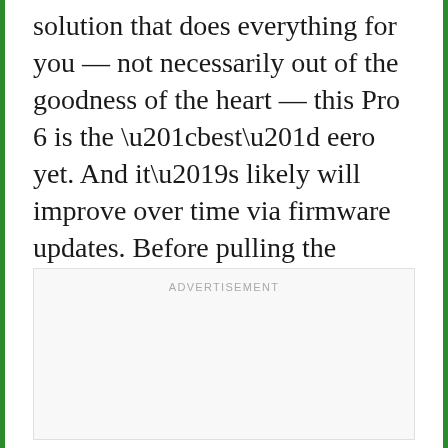solution that does everything for you — not necessarily out of the goodness of the heart — this Pro 6 is the “best” eero yet. And it’s likely will improve over time via firmware updates. Before pulling the trigger, though, maybe check out one of these top Wi-Fi 6 routers first.
ADVERTISEMENT